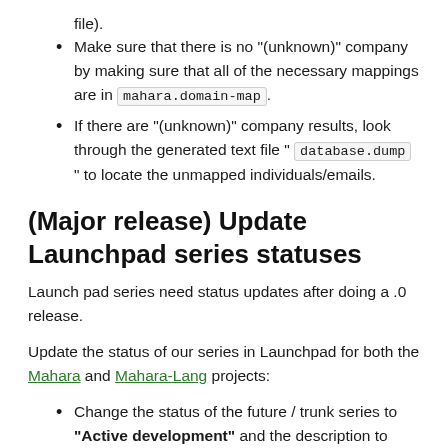file).
Make sure that there is no "(unknown)" company by making sure that all of the necessary mappings are in mahara.domain-map.
If there are "(unknown)" company results, look through the generated text file " database.dump " to locate the unmapped individuals/emails.
(Major release) Update Launchpad series statuses
Launch pad series need status updates after doing a .0 release.
Update the status of our series in Launchpad for both the Mahara and Mahara-Lang projects:
Change the status of the future / trunk series to "Active development" and the description to